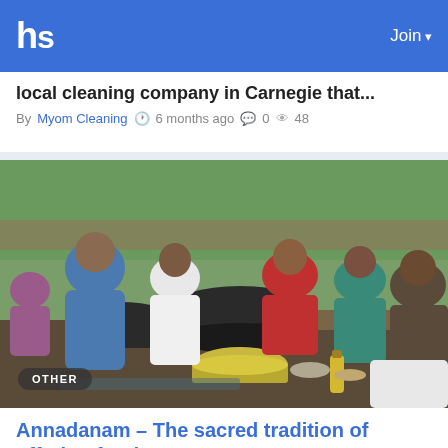hs   Join
local cleaning company in Carnegie that...
By Myom Cleaning  6 months ago  0  48
[Figure (photo): People gathered around large cooking pots at an outdoor food distribution event, serving food to a crowd. An 'OTHER' badge is overlaid in the bottom left corner.]
Annadanam – The sacred tradition of offering food
"Annam para Brahma swarupam" (Food is the essence of life/ the Lord of Creation.)